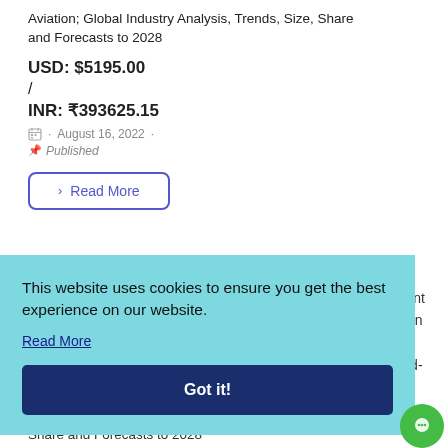Aviation; Global Industry Analysis, Trends, Size, Share and Forecasts to 2028
USD: $5195.00
/
INR: ₹393625.15
August 16, 2022 · Published
Read More
This website uses cookies to ensure you get the best experience on our website.
Read More
Got it!
Paint
ction
End-
Share and Forecasts to 2028